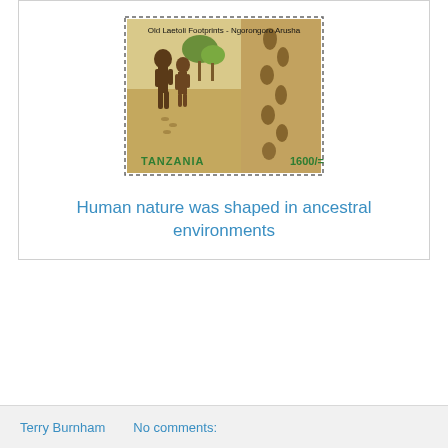[Figure (illustration): A Tanzania postage stamp (1600/=) showing the Old Laetoli Footprints from Ngorongoro Arusha. Left half shows two early hominids (Australopithecus) walking upright in a savanna landscape with trees. Right half shows the fossilized footprint trail in volcanic ash.]
Human nature was shaped in ancestral environments
Terry Burnham    No comments: